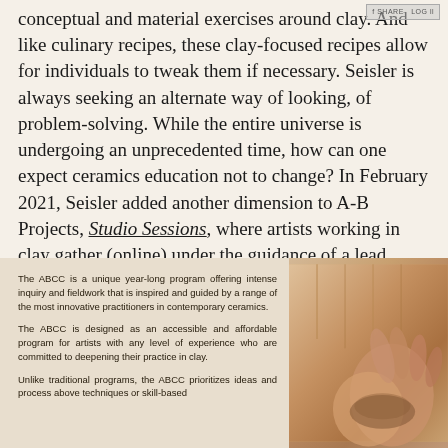conceptual and material exercises around clay. And like culinary recipes, these clay-focused recipes allow for individuals to tweak them if necessary. Seisler is always seeking an alternate way of looking, of problem-solving. While the entire universe is undergoing an unprecedented time, how can one expect ceramics education not to change? In February 2021, Seisler added another dimension to A-B Projects, Studio Sessions, where artists working in clay gather (online) under the guidance of a lead artist, collectively brainstorming ideas and practices.
[Figure (photo): A photo composite showing text about the ABCC program on a beige/tan background on the left, and a close-up photograph of hands working with clay on the right.]
The ABCC is a unique year-long program offering intense inquiry and fieldwork that is inspired and guided by a range of the most innovative practitioners in contemporary ceramics.

The ABCC is designed as an accessible and affordable program for artists with any level of experience who are committed to deepening their practice in clay.

Unlike traditional programs, the ABCC prioritizes ideas and process above techniques or skill-based